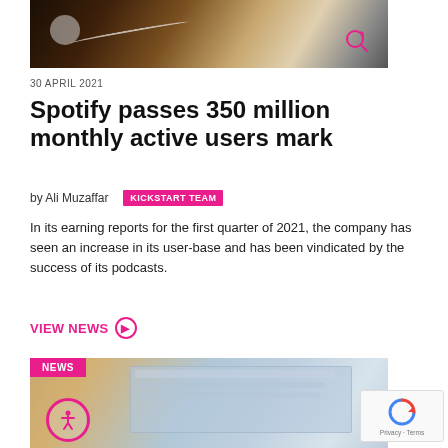[Figure (photo): Photo of a smartphone with earphones on a dark wooden surface, partially cropped at top]
30 APRIL 2021
Spotify passes 350 million monthly active users mark
by Ali Muzaffar  KICKSTART TEAM
In its earning reports for the first quarter of 2021, the company has seen an increase in its user-base and has been vindicated by the success of its podcasts.
VIEW NEWS ➔
[Figure (photo): Photo of a laptop showing an email inbox, with a blurred tablet in the foreground, with a NEWS badge overlay]